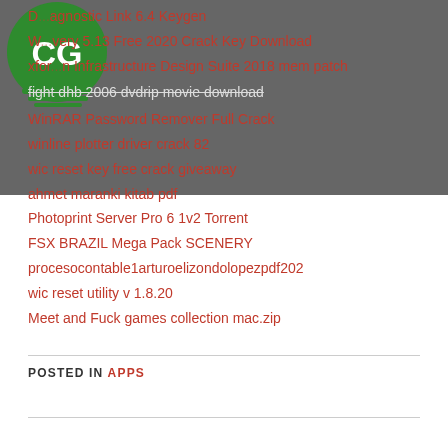[Figure (logo): CG logo — green circle with white CG letters and decorative base]
D...agnostic Link 6.4 Keygen
W...very 5.13 Free 2020 Crack Key Download
xfor...n Infrastructure Design Suite 2018 mem patch
fight dhb 2006 dvdrip movie download
WinRAR Password Remover Full Crack
winline plotter driver crack 82
wic reset key free crack giveaway
ahmet maranki kitab pdf
Photoprint Server Pro 6 1v2 Torrent
FSX BRAZIL Mega Pack SCENERY
procesocontable1arturoelizondolopezpdf202
wic reset utility v 1.8.20
Meet and Fuck games collection mac.zip
POSTED IN APPS